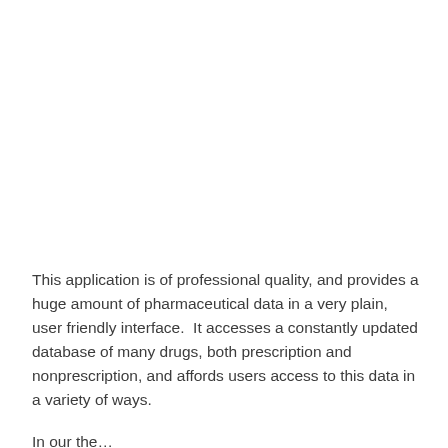This application is of professional quality, and provides a huge amount of pharmaceutical data in a very plain, user friendly interface.  It accesses a constantly updated database of many drugs, both prescription and nonprescription, and affords users access to this data in a variety of ways.
In our the...